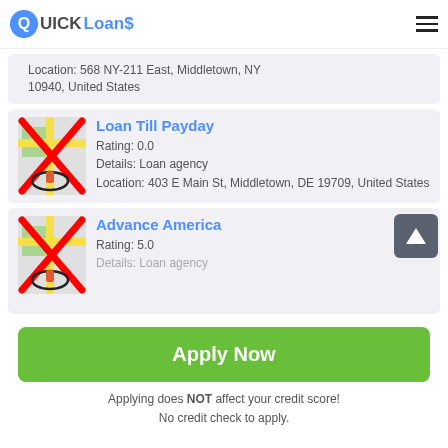QUICK Loans
Location: 568 NY-211 East, Middletown, NY 10940, United States
Loan Till Payday
Rating: 0.0
Details: Loan agency
Location: 403 E Main St, Middletown, DE 19709, United States
Advance America
Rating: 5.0
Details: Loan agency
Apply Now
Applying does NOT affect your credit score!
No credit check to apply.